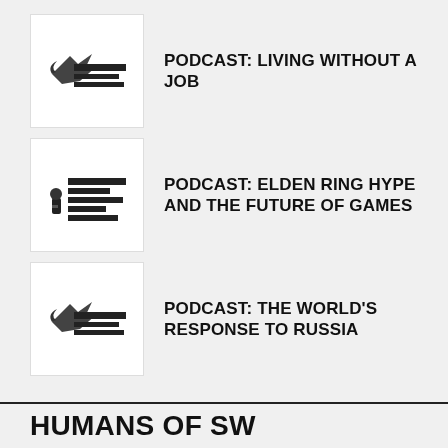[Figure (logo): Podcast thumbnail with bird logo and text blocks]
PODCAST: LIVING WITHOUT A JOB
[Figure (logo): Southwest Game Herald podcast thumbnail with microphone icon and text blocks]
PODCAST: ELDEN RING HYPE AND THE FUTURE OF GAMES
[Figure (logo): Podcast thumbnail with bird logo and text blocks]
PODCAST: THE WORLD'S RESPONSE TO RUSSIA
HUMANS OF SW